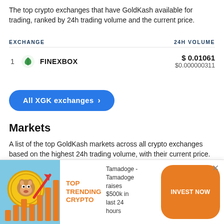The top crypto exchanges that have GoldKash available for trading, ranked by 24h trading volume and the current price.
| EXCHANGE | 24H VOLUME |
| --- | --- |
| 1  FINEXBOX | $ 0.01061
$0.000000311 |
All XGK exchanges >
Markets
A list of the top GoldKash markets across all crypto exchanges based on the highest 24h trading volume, with their current price.
| MARKET | 24H VOLUME |
| --- | --- |
| 1  XGK/LTC | $ 0.01059 |
[Figure (infographic): Advertisement banner: dog coin mascot image on blue background, TOP TRENDING CRYPTO label in orange, text about Tamadoge raising $500k in last 24 hours, INVEST NOW orange button, close X button]